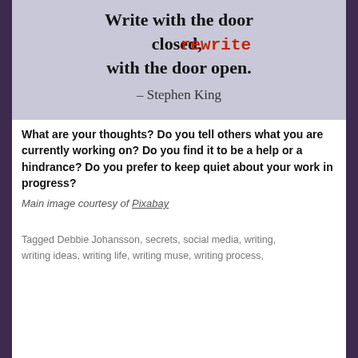[Figure (illustration): Quote image on a crumpled paper background: 'Write with the door closed, rewrite with the door open. - Stephen King' where 'rewrite' is in red typewriter font and the rest is in black serif font.]
What are your thoughts? Do you tell others what you are currently working on? Do you find it to be a help or a hindrance? Do you prefer to keep quiet about your work in progress?
Main image courtesy of Pixabay
Tagged Debbie Johansson, secrets, social media, writing, writing ideas, writing life, writing muse, writing process,